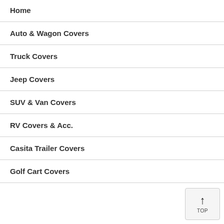Home
Auto & Wagon Covers
Truck Covers
Jeep Covers
SUV & Van Covers
RV Covers & Acc.
Casita Trailer Covers
Golf Cart Covers